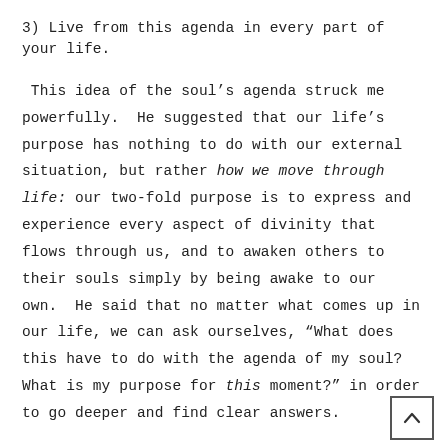3) Live from this agenda in every part of your life.
This idea of the soul’s agenda struck me powerfully. He suggested that our life’s purpose has nothing to do with our external situation, but rather how we move through life: our two-fold purpose is to express and experience every aspect of divinity that flows through us, and to awaken others to their souls simply by being awake to our own. He said that no matter what comes up in our life, we can ask ourselves, “What does this have to do with the agenda of my soul? What is my purpose for this moment?” in order to go deeper and find clear answers.
Personally, I have found this to be powerfully true. F relatively small annoyances and frustrations to large